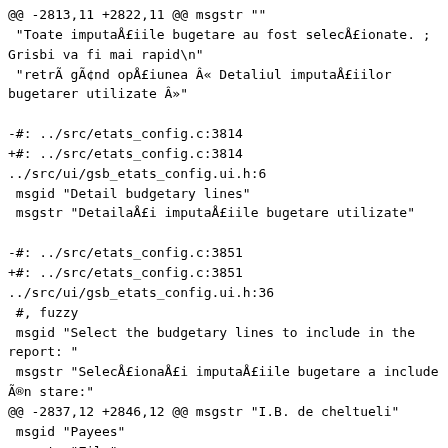@@ -2813,11 +2822,11 @@ msgstr ""
 "Toate imputaÅ£iile bugetare au fost selecÅ£ionate. ;
Grisbi va fi mai rapid\n"
 "retrÃ gÃ¢nd opÅ£iunea Â« Detaliul imputaÅ£iilor
bugetarer utilizate Â»"

-#: ../src/etats_config.c:3814
+#: ../src/etats_config.c:3814
../src/ui/gsb_etats_config.ui.h:6
 msgid "Detail budgetary lines"
 msgstr "DetailaÅ£i imputaÅ£iile bugetare utilizate"

-#: ../src/etats_config.c:3851
+#: ../src/etats_config.c:3851
../src/ui/gsb_etats_config.ui.h:36
 #, fuzzy
 msgid "Select the budgetary lines to include in the
report: "
 msgstr "SelecÅ£ionaÅ£i imputaÅ£iile bugetare a include
Ã®n stare:"
@@ -2837,12 +2846,12 @@ msgstr "I.B. de cheltueli"
 msgid "Payees"
 msgstr "Zile"

-#: ../src/etats_config.c:3997
+#: ../src/etats_config.c:3997
../src/ui/gsb_etats_config.ui.h:9
 #, fuzzy
 msgid "Detail payees"
 msgstr "DetailaÅ£i categoriile utilizate"